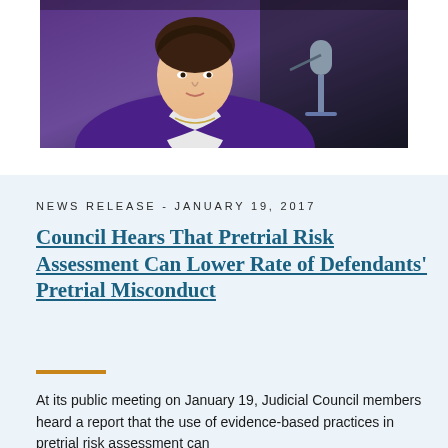[Figure (photo): Photo of a woman in a purple blazer speaking at a microphone at a public meeting]
NEWS RELEASE - JANUARY 19, 2017
Council Hears That Pretrial Risk Assessment Can Lower Rate of Defendants' Pretrial Misconduct
At its public meeting on January 19, Judicial Council members heard a report that the use of evidence-based practices in pretrial risk assessment can